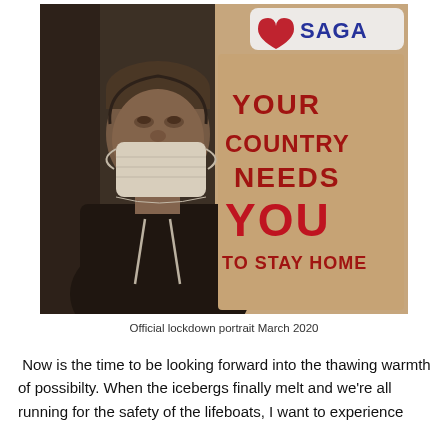[Figure (photo): A man wearing a black hoodie and a white face mask, photographed in a sepia/duotone tone. Behind him is a poster on a beige background with red bold text reading 'YOUR COUNTRY NEEDS YOU TO STAY HOME'. At the top of the image is a partial logo with a red heart shape and blue text reading 'SAGA'.]
Official lockdown portrait March 2020
Now is the time to be looking forward into the thawing warmth of possibilty. When the icebergs finally melt and we're all running for the safety of the lifeboats, I want to experience